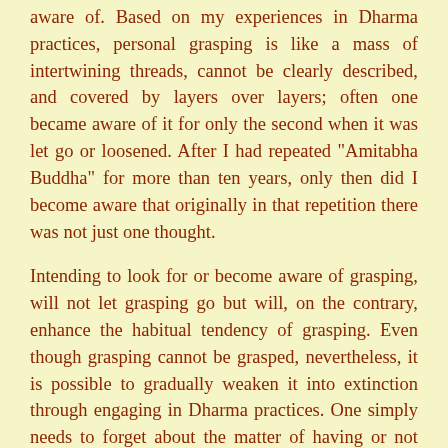aware of. Based on my experiences in Dharma practices, personal grasping is like a mass of intertwining threads, cannot be clearly described, and covered by layers over layers; often one became aware of it for only the second when it was let go or loosened. After I had repeated "Amitabha Buddha" for more than ten years, only then did I become aware that originally in that repetition there was not just one thought.
Intending to look for or become aware of grasping, will not let grasping go but will, on the contrary, enhance the habitual tendency of grasping. Even though grasping cannot be grasped, nevertheless, it is possible to gradually weaken it into extinction through engaging in Dharma practices. One simply needs to forget about the matter of having or not having grasping, and single-mindedly concentrate on Dharma practices with the pure intention of aiming to help all sentient beings become fully enlightened, then one will gradually become emancipated from all sorts of habitual tendencies of grasping.